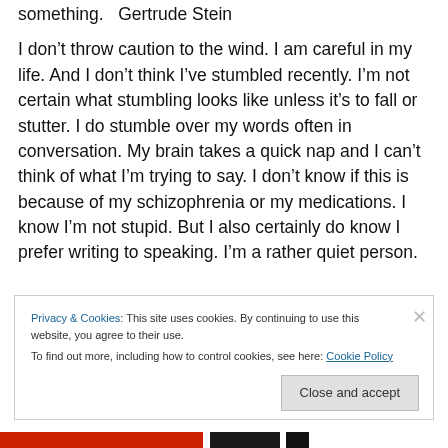something.   Gertrude Stein
I don't throw caution to the wind. I am careful in my life. And I don't think I've stumbled recently. I'm not certain what stumbling looks like unless it's to fall or stutter. I do stumble over my words often in conversation. My brain takes a quick nap and I can't think of what I'm trying to say. I don't know if this is because of my schizophrenia or my medications. I know I'm not stupid. But I also certainly do know I prefer writing to speaking. I'm a rather quiet person.
Privacy & Cookies: This site uses cookies. By continuing to use this website, you agree to their use.
To find out more, including how to control cookies, see here: Cookie Policy